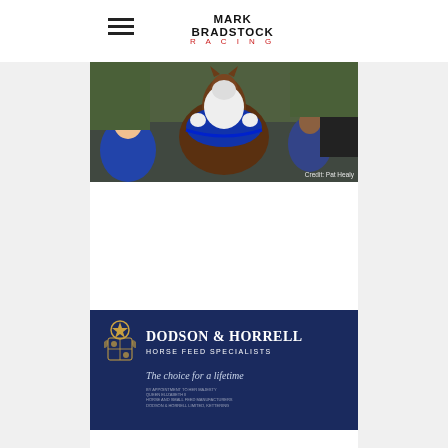Mark Bradstock Racing
[Figure (photo): Horse with jockey at a racing event, surrounded by people. Credit: Pat Healy]
[Figure (logo): Dodson & Horrell Horse Feed Specialists advertisement. Royal crest logo. Tagline: The choice for a lifetime.]